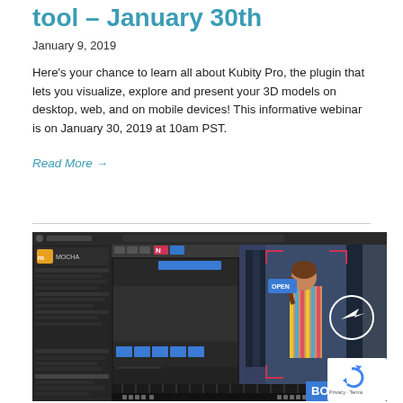tool – January 30th
January 9, 2019
Here's your chance to learn all about Kubity Pro, the plugin that lets you visualize, explore and present your 3D models on desktop, web, and on mobile devices! This informative webinar is on January 30, 2019 at 10am PST.
Read More →
[Figure (screenshot): Screenshot of Boris FX Mocha Pro video editing software interface showing a woman holding an 'OPEN' sign in a shop doorway, with tracking markers and a circle overlay. The Boris logo is visible in the bottom right corner.]